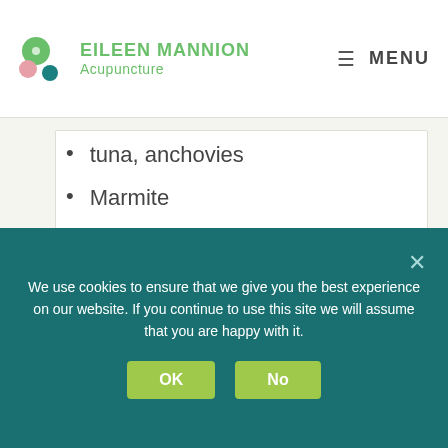EILEEN MANNION Acupuncture | MENU
tuna, anchovies
Marmite
Dark chocolate
Rice/quinoa
Parsley, ginger, garlic
Guinness
Use good stocks from vegetables &/or bones as the
We use cookies to ensure that we give you the best experience on our website. If you continue to use this site we will assume that you are happy with it.